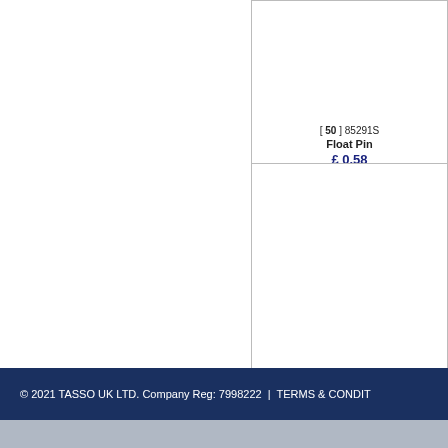[ 50 ] 85291S Float Pin £ 0.58
[ 54 ] 85294S Pipe securing Screw £ 1.26
© 2021 TASSO UK LTD. Company Reg: 7998222  |  TERMS & CONDIT...